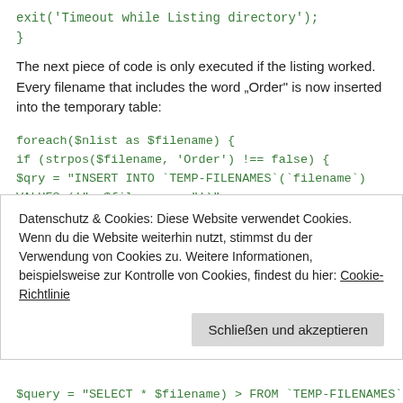exit('Timeout while Listing directory');
}
The next piece of code is only executed if the listing worked. Every filename that includes the word „Order" is now inserted into the temporary table:
foreach($nlist as $filename) {
if (strpos($filename, 'Order') !== false) {
$qry = "INSERT INTO `TEMP-FILENAMES`(`filename`)
VALUES ('" . $filename . "')";
$insert = mysql_query($qry,MYSQLCONNECTION) or
print mysql_error();
}
Datenschutz & Cookies: Diese Website verwendet Cookies. Wenn du die Website weiterhin nutzt, stimmst du der Verwendung von Cookies zu. Weitere Informationen, beispielsweise zur Kontrolle von Cookies, findest du hier: Cookie-Richtlinie
Schließen und akzeptieren
$query = "SELECT * $filename) > FROM `TEMP-FILENAMES`)